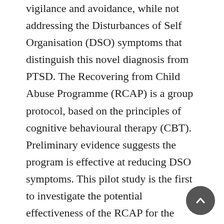vigilance and avoidance, while not addressing the Disturbances of Self Organisation (DSO) symptoms that distinguish this novel diagnosis from PTSD. The Recovering from Child Abuse Programme (RCAP) is a group protocol, based on the principles of cognitive behavioural therapy (CBT). Preliminary evidence suggests the program is effective at reducing DSO symptoms. This pilot study is the first to investigate the potential effectiveness of the RCAP for the specific treatment of CPTSD. This study was conducted as a service evaluation in a secondary care, traumatic stress service. Treatment was delivered once a week, in two-hour sessions, to ten existing female CPTSD patients of the service, who had experienced sexual abuse in childhood. The programme was administered by two therapists and two additional facilitators, following the RCAP protocol manual. Symptom severity was measured before the administration of therapy and